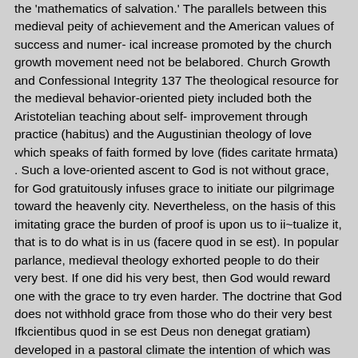the 'mathematics of salvation.' The parallels between this medieval peity of achievement and the American values of success and numer- ical increase promoted by the church growth movement need not be belabored. Church Growth and Confessional Integrity 137 The theological resource for the medieval behavior-oriented piety included both the Aristotelian teaching about self- improvement through practice (habitus) and the Augustinian theology of love which speaks of faith formed by love (fides caritate hrmata) . Such a love-oriented ascent to God is not without grace, for God gratuitously infuses grace to initiate our pilgrimage toward the heavenly city. Nevertheless, on the hasis of this imitating grace the burden of proof is upon us to ii~tualize it, that is to do what is in us (facere quod in se est). In popular parlance, medieval theology exhorted people to do their very best. If one did his very best, then God would reward one with the grace to try even harder. The doctrine that God does not withhold grace from those who do their very best Ifkcientibus quod in se est Deus non denegat gratiam) developed in a pastoral climate the intention of which was to provide assurance and security for the anxious sinner. I t also developed in an Aristotelian philosophical climate of the continuity of being. According to Aristotle reality precedes